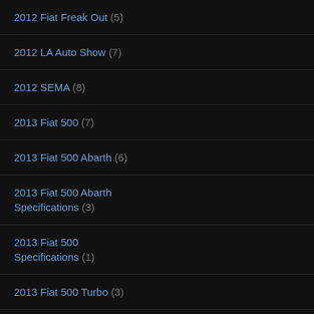2012 Fiat Freak Out (5)
2012 LA Auto Show (7)
2012 SEMA (8)
2013 Fiat 500 (7)
2013 Fiat 500 Abarth (6)
2013 Fiat 500 Abarth Specifications (3)
2013 Fiat 500 Specifications (1)
2013 Fiat 500 Turbo (3)
2013 Fiat 500c (4)
2013 Fiats (2)
2014 Fiat 500 (7)
2014 Fiat 500 Abarth (3)
2014 Fiat 500 Abarth
Subs